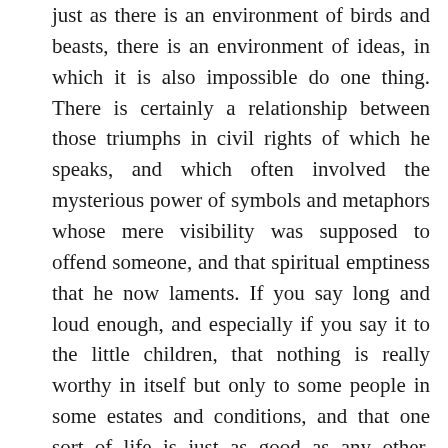just as there is an environment of birds and beasts, there is an environment of ideas, in which it is also impossible do one thing. There is certainly a relationship between those triumphs in civil rights of which he speaks, and which often involved the mysterious power of symbols and metaphors whose mere visibility was supposed to offend someone, and that spiritual emptiness that he now laments. If you say long and loud enough, and especially if you say it to the little children, that nothing is really worthy in itself but only to some people in some estates and conditions, and that one sort of life is just as good as any other, sooner or later you will live in the world that you have helped to make. If you find it a smelly mess, where something even more important than the wildlife is dying, you should add to your discomfort a nasty dose of guilt.